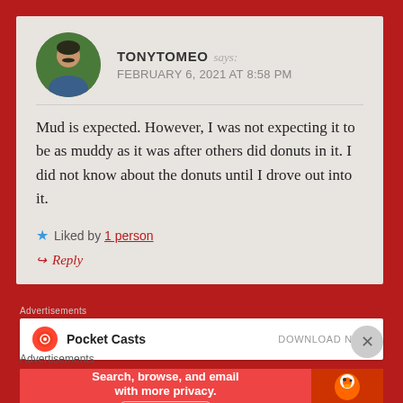TONYTOMEO says: FEBRUARY 6, 2021 AT 8:58 PM
Mud is expected. However, I was not expecting it to be as muddy as it was after others did donuts in it. I did not know about the donuts until I drove out into it.
Liked by 1 person
Reply
Advertisements
[Figure (screenshot): Pocket Casts advertisement banner with logo and DOWNLOAD NOW text]
Advertisements
[Figure (screenshot): DuckDuckGo advertisement: Search, browse, and email with more privacy. All in One Free App]